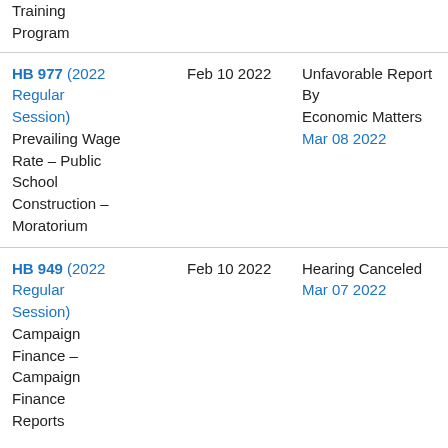Training Program
HB 977 (2022 Regular Session) Prevailing Wage Rate – Public School Construction – Moratorium
Feb 10 2022
Unfavorable Report By Economic Matters Mar 08 2022
HB 949 (2022 Regular Session) Campaign Finance – Campaign Finance Reports
Feb 10 2022
Hearing Canceled Mar 07 2022